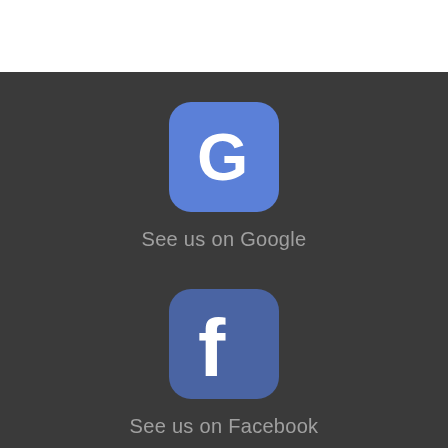[Figure (logo): Google icon - blue rounded square with white G letter]
See us on Google
[Figure (logo): Facebook icon - darker blue rounded square with white lowercase f letter]
See us on Facebook